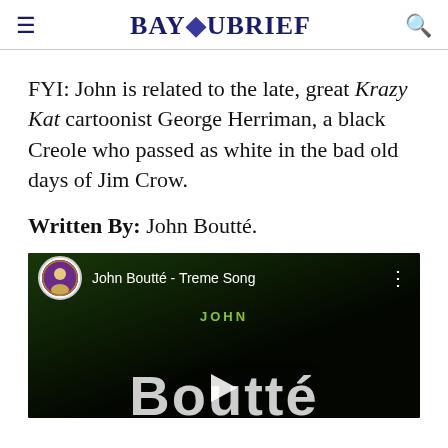BAYOUBRIEF
FYI: John is related to the late, great Krazy Kat cartoonist George Herriman, a black Creole who passed as white in the bad old days of Jim Crow.
Written By: John Boutté.
[Figure (screenshot): YouTube video embed showing 'John Boutté - Treme Song' with a circular avatar thumbnail, video title, three-dot menu icon, and large stylized text 'Boutte' in white against a dark background.]